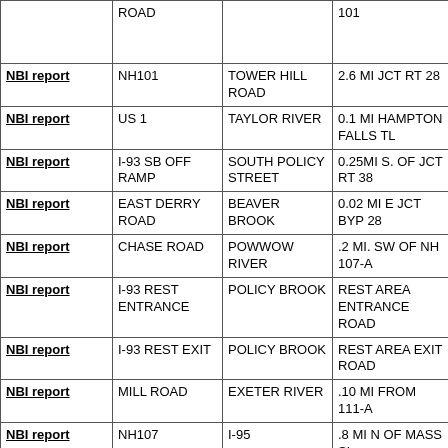|  | Route | Feature | Location |
| --- | --- | --- | --- |
|  | ROAD |  | 101 |
| NBI report | NH101 | TOWER HILL ROAD | 2.6 MI JCT RT 28 |
| NBI report | US 1 | TAYLOR RIVER | 0.1 MI HAMPTON FALLS TL |
| NBI report | I-93 SB OFF RAMP | SOUTH POLICY STREET | 0.25MI S. OF JCT RT 38 |
| NBI report | EAST DERRY ROAD | BEAVER BROOK | 0.02 MI E JCT BYP 28 |
| NBI report | CHASE ROAD | POWWOW RIVER | .2 MI. SW OF NH 107-A |
| NBI report | I-93 REST ENTRANCE | POLICY BROOK | REST AREA ENTRANCE ROAD |
| NBI report | I-93 REST EXIT | POLICY BROOK | REST AREA EXIT ROAD |
| NBI report | MILL ROAD | EXETER RIVER | .10 MI FROM 111-A |
| NBI report | NH107 | I-95 | .8 MI N OF MASS SL |